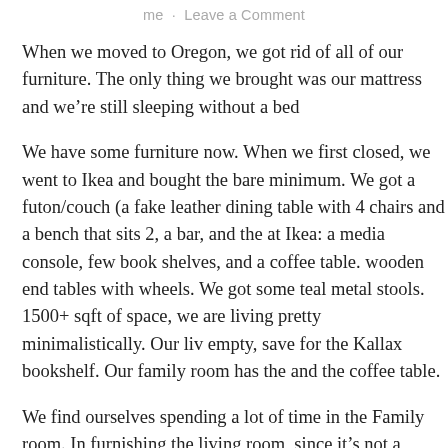me · Leave a Comment
When we moved to Oregon, we got rid of all of our furniture. The only thing we brought was our mattress and we're still sleeping without a bed frame.
We have some furniture now. When we first closed, we went to Ikea and we bought the bare minimum. We got a futon/couch (a fake leather one), a dining table with 4 chairs and a bench that sits 2, a bar, and the Kallax at Ikea: a media console, few book shelves, and a coffee table. We also got wooden end tables with wheels. We got some teal metal stools. With 1500+ sqft of space, we are living pretty minimalistically. Our living room is empty, save for the Kallax bookshelf. Our family room has the futon/couch and the coffee table.
We find ourselves spending a lot of time in the Family room. In no rush furnishing the living room, since it's not a priority for us. Weird, right? We're in the middle of prioritizing things to help us get into shape (organizers and a bed) or things that will live outside of our personal space for the benefit of guests.
I find certain things that I want... but holding off, since I should